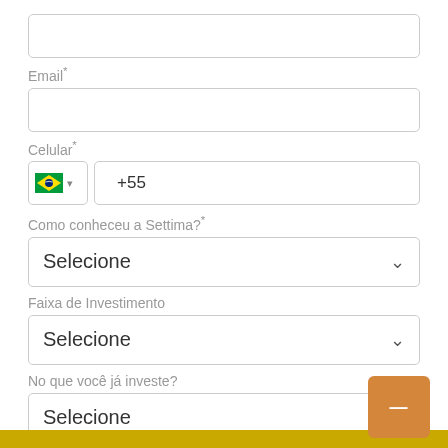Email*
Celular*
+55
Como conheceu a Settima?*
Selecione
Faixa de Investimento
Selecione
No que você já investe?
Selecione